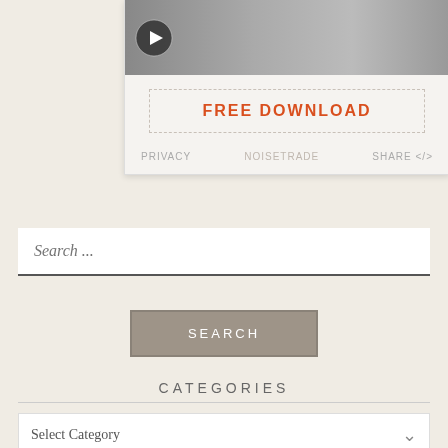[Figure (screenshot): NoiseTrade music widget showing a black and white photo with play button, a FREE DOWNLOAD button, and footer links for PRIVACY, NOISETRADE, and SHARE </>]
Search ...
SEARCH
CATEGORIES
Select Category